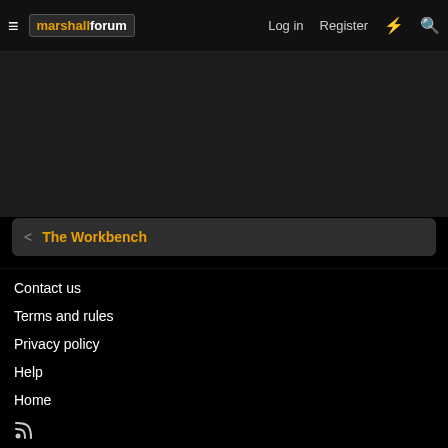≡ marshallforum  Log in  Register
The Workbench
Contact us
Terms and rules
Privacy policy
Help
Home
RSS feed icon